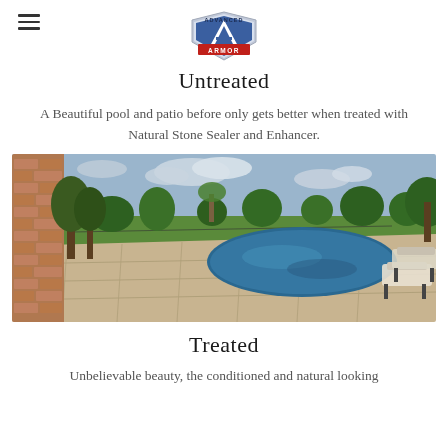Advanced Armor logo with hamburger menu
Untreated
A Beautiful pool and patio before only gets better when treated with Natural Stone Sealer and Enhancer.
[Figure (photo): Outdoor pool and natural stone patio with lounge chairs, trees, and grass in background, before treatment]
Treated
Unbelievable beauty, the conditioned and natural looking